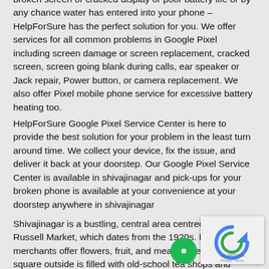broken screen or cracked display or poor battery life or by any chance water has entered into your phone – HelpForSure has the perfect solution for you. We offer services for all common problems in Google Pixel including screen damage or screen replacement, cracked screen, screen going blank during calls, ear speaker or Jack repair, Power button, or camera replacement. We also offer Pixel mobile phone service for excessive battery heating too.
HelpForSure Google Pixel Service Center is here to provide the best solution for your problem in the least turn around time. We collect your device, fix the issue, and deliver it back at your doorstep. Our Google Pixel Service Center is available in shivajinagar and pick-ups for your broken phone is available at your convenience at your doorstep anywhere in shivajinagar
Shivajinagar is a bustling, central area centred on the Russell Market, which dates from the 1920s. Inside, merchants offer flowers, fruit, and meat, while the adjacent square outside is filled with old-school tea shops and evening street food booths. Nearby, Commercial Street is lined with clothing, souvenirs, and fabric businesses. Catholics worship to a sari-clad figure of the Virgin Mary in the Gothic-style St. Mary's Basilica. Shivajinagar is a Bangalore neighbourhood in India. It was named after Maratha